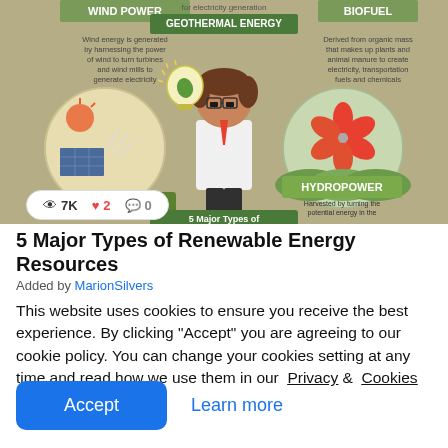[Figure (infographic): Infographic about 5 Major Types of Renewable Energy Resources. Shows Wind Power (top left), Geothermal Energy (top center, green banner), Biofuel (top right). Left circle shows solar panels with sun. Right circle shows a wind turbine/pinwheel. Center shows a cartoon scientist holding a glowing light bulb with a leaf. Bottom left shows SOLAR ENERGY label, bottom right shows HYDROPOWER label with description. Stats bar overlay shows 7K views, 2 likes, 0 comments.]
5 Major Types of Renewable Energy Resources
Added by MarionSilvers
This website uses cookies to ensure you receive the best experience. By clicking "Accept" you are agreeing to our cookie policy. You can change your cookies setting at any time and read how we use them in our  Privacy &  Cookies Policy.
Accept   Learn more